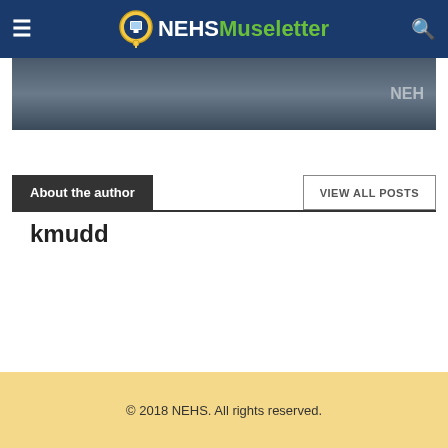NEHS Museletter
[Figure (photo): Partial photo of a library bookshelf with a person visible, darkened/overlaid image strip]
About the author
VIEW ALL POSTS
kmudd
© 2018 NEHS. All rights reserved.